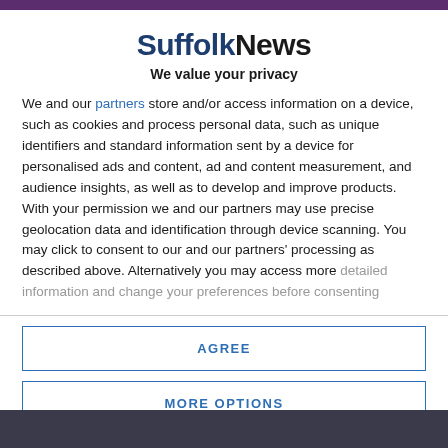SuffolkNews
We value your privacy
We and our partners store and/or access information on a device, such as cookies and process personal data, such as unique identifiers and standard information sent by a device for personalised ads and content, ad and content measurement, and audience insights, as well as to develop and improve products. With your permission we and our partners may use precise geolocation data and identification through device scanning. You may click to consent to our and our partners' processing as described above. Alternatively you may access more detailed information and change your preferences before consenting
AGREE
MORE OPTIONS